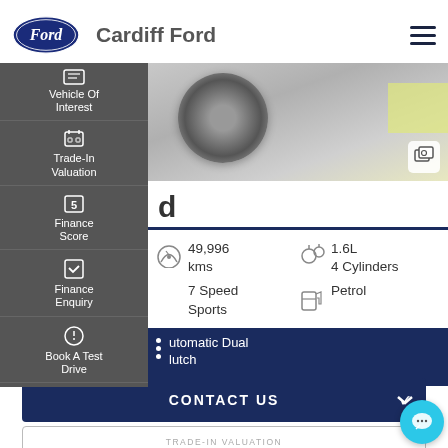Cardiff Ford
[Figure (screenshot): Car wheel/tyre close-up image in grayscale with yellow accent]
d
49,996 kms
1.6L 4 Cylinders
7 Speed Sports
Petrol
utomatic Dual lutch
Vehicle Of Interest
Trade-In Valuation
Finance Score
Finance Enquiry
Book A Test Drive
CONTACT US
TRADE-IN VALUATION
FINANCE THIS VEHICLE